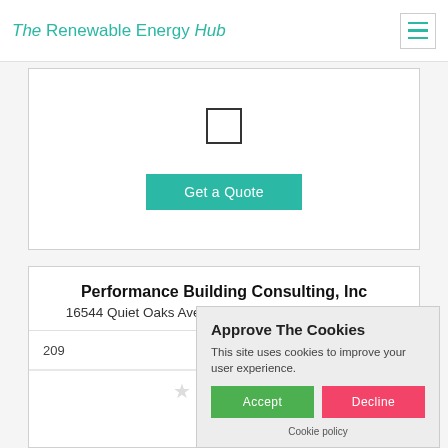The Renewable Energy Hub
[Figure (screenshot): Checkbox (empty square) form element in a white card]
[Figure (screenshot): Get a Quote button in teal/green color]
Performance Building Consulting, Inc
16544 Quiet Oaks Avenue Greenwell,Springs, 70739
209
[Figure (screenshot): Five empty/outline star rating icons]
Approve The Cookies
This site uses cookies to improve your user experience.
Accept  Decline
Cookie policy